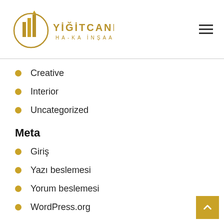[Figure (logo): Yiğitcanlar HA-KA İnşaat company logo with golden building icon and text]
Creative
Interior
Uncategorized
Meta
Giriş
Yazı beslemesi
Yorum beslemesi
WordPress.org